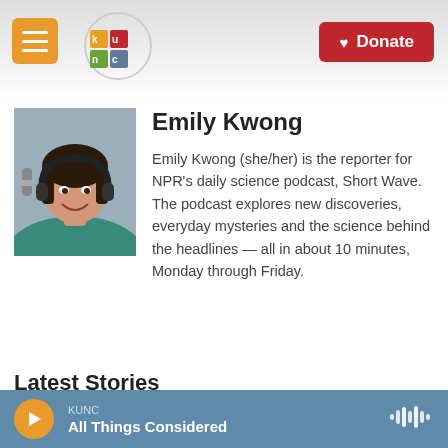KUNC — Donate
[Figure (photo): Emily Kwong at a microphone wearing headphones, smiling]
Emily Kwong
Emily Kwong (she/her) is the reporter for NPR's daily science podcast, Short Wave. The podcast explores new discoveries, everyday mysteries and the science behind the headlines — all in about 10 minutes, Monday through Friday.
Latest Stories
KUNC — All Things Considered